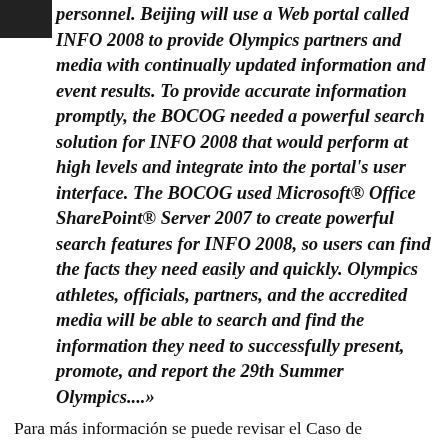personnel. Beijing will use a Web portal called INFO 2008 to provide Olympics partners and media with continually updated information and event results. To provide accurate information promptly, the BOCOG needed a powerful search solution for INFO 2008 that would perform at high levels and integrate into the portal's user interface. The BOCOG used Microsoft® Office SharePoint® Server 2007 to create powerful search features for INFO 2008, so users can find the facts they need easily and quickly. Olympics athletes, officials, partners, and the accredited media will be able to search and find the information they need to successfully present, promote, and report the 29th Summer Olympics....»
Para más información se puede revisar el Caso de